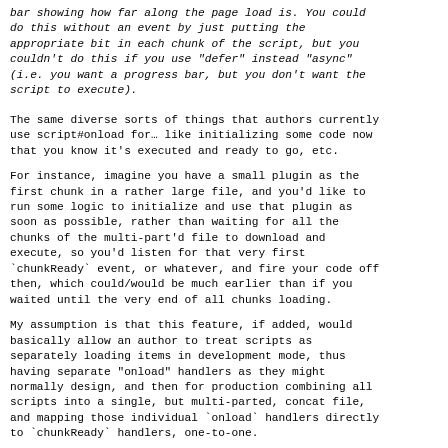bar showing how far along the page load is. You could do this without an event by just putting the appropriate bit in each chunk of the script, but you couldn't do this if you use "defer" instead "async" (i.e. you want a progress bar, but you don't want the script to execute).
The same diverse sorts of things that authors currently use script#onload for… like initializing some code now that you know it's executed and ready to go, etc.
For instance, imagine you have a small plugin as the first chunk in a rather large file, and you'd like to run some logic to initialize and use that plugin as soon as possible, rather than waiting for all the chunks of the multi-part'd file to download and execute, so you'd listen for that very first `chunkReady` event, or whatever, and fire your code off then, which could/would be much earlier than if you waited until the very end of all chunks loading.
My assumption is that this feature, if added, would basically allow an author to treat scripts as separately loading items in development mode, thus having separate "onload" handlers as they might normally design, and then for production combining all scripts into a single, but multi-parted, concat file, and mapping those individual `onload` handlers directly to `chunkReady` handlers, one-to-one.